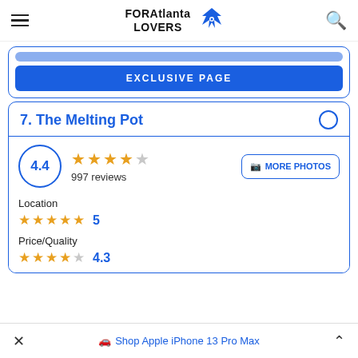FORAtlanta LOVERS
EXCLUSIVE PAGE
7. The Melting Pot
4.4 ★★★★☆ 997 reviews
Location 5
Price/Quality 4.3
Shop Apple iPhone 13 Pro Max